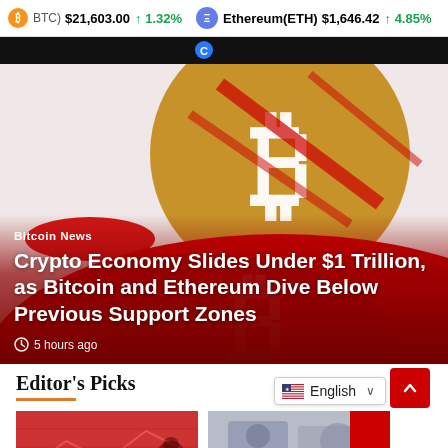Bitcoin(BTC) $21,603.00 ↑1.32%  Ethereum(ETH) $1,646.42 ↑4.85%
[Figure (illustration): Bitcoin logo illustration with red background, gold coin with white Bitcoin symbol and red diagonal lines]
Bitcoin News
Crypto Economy Slides Under $1 Trillion, as Bitcoin and Ethereum Dive Below Previous Support Zones
5 hours ago
Editor's Picks
[Figure (photo): Altcoin News card with red background]
[Figure (illustration): Right card image illustration]